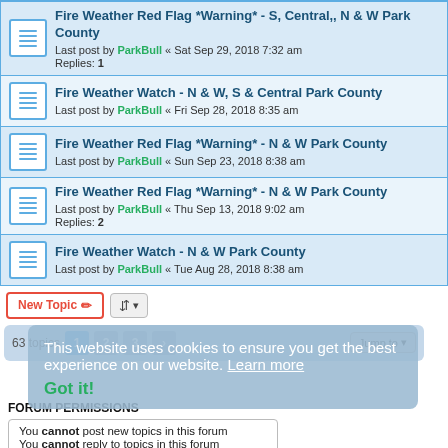Fire Weather Red Flag *Warning* - S, Central,, N & W Park County
Last post by ParkBull « Sat Sep 29, 2018 7:32 am
Replies: 1
Fire Weather Watch - N & W, S & Central Park County
Last post by ParkBull « Fri Sep 28, 2018 8:35 am
Fire Weather Red Flag *Warning* - N & W Park County
Last post by ParkBull « Sun Sep 23, 2018 8:38 am
Fire Weather Red Flag *Warning* - N & W Park County
Last post by ParkBull « Thu Sep 13, 2018 9:02 am
Replies: 2
Fire Weather Watch - N & W Park County
Last post by ParkBull « Tue Aug 28, 2018 8:38 am
63 topics  1  2  3  >
This website uses cookies to ensure you get the best experience on our website. Learn more
Got it!
FORUM PERMISSIONS
You cannot post new topics in this forum
You cannot reply to topics in this forum
You cannot edit your posts in this forum
You cannot delete your posts in this forum